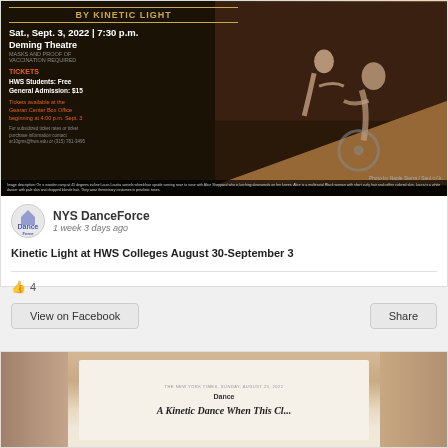[Figure (photo): Event banner for Kinetic Light performance at HWS Colleges. Dark background with gold text 'BY KINETIC LIGHT', date Sat. Sept. 3 2022 at 7:30 p.m., Deming Theatre. Tickets info including HWS Students: Free, General Admission: $15. Photo showing two dancers, one in wheelchair on a ramp.]
NYS DanceForce
1 week 3 days ago
Kinetic Light at HWS Colleges August 30-September 3
4
View on Facebook
Share
[Figure (photo): Newspaper open to Dance section, showing a partially visible headline in italic serif font, placed on a wooden table surface.]